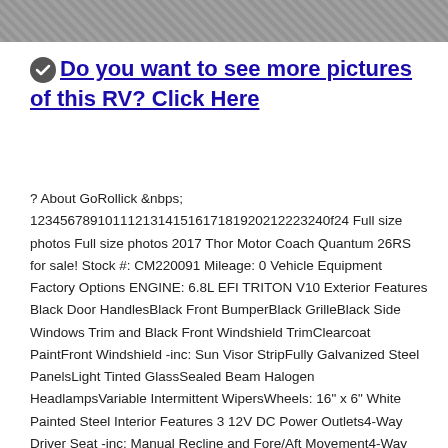[Figure (photo): Partial photo strip at top of page showing a textured surface, cropped.]
Do you want to see more pictures of this RV? Click Here
? About GoRollick &nbps; 1234567891011121314151617181920212223240f24 Full size photos Full size photos 2017 Thor Motor Coach Quantum 26RS for sale! Stock #: CM220091 Mileage: 0 Vehicle Equipment Factory Options ENGINE: 6.8L EFI TRITON V10 Exterior Features Black Door HandlesBlack Front BumperBlack GrilleBlack Side Windows Trim and Black Front Windshield TrimClearcoat PaintFront Windshield -inc: Sun Visor StripFully Galvanized Steel PanelsLight Tinted GlassSealed Beam Halogen HeadlampsVariable Intermittent WipersWheels: 16" x 6" White Painted Steel Interior Features 3 12V DC Power Outlets4-Way Driver Seat -inc: Manual Recline and Fore/Aft Movement4-Way Passenger Seat -inc: Manual Recline and Fore/Aft MovementAnalog AppearanceDriver